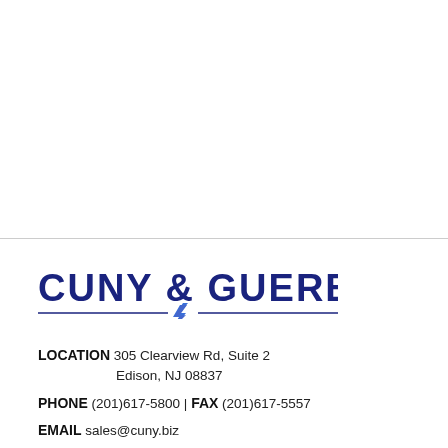[Figure (logo): Cuny & Guerber company logo with stylized lightning bolt underline]
LOCATION  305 Clearview Rd, Suite 2
Edison, NJ 08837
PHONE (201)617-5800 | FAX (201)617-5557
EMAIL  sales@cuny.biz